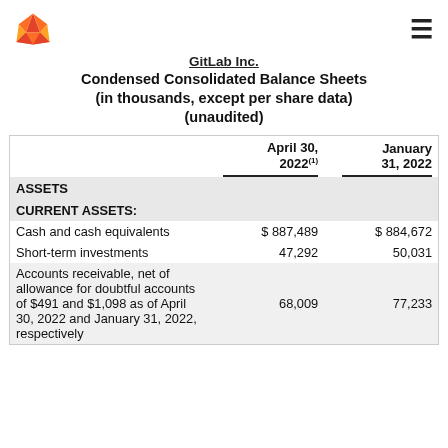GitLab Inc. logo and navigation
GitLab Inc.
Condensed Consolidated Balance Sheets
(in thousands, except per share data)
(unaudited)
|  | April 30, 2022(1) | January 31, 2022 |
| --- | --- | --- |
| ASSETS |  |  |
| CURRENT ASSETS: |  |  |
| Cash and cash equivalents | $ 887,489 | $ 884,672 |
| Short-term investments | 47,292 | 50,031 |
| Accounts receivable, net of allowance for doubtful accounts of $491 and $1,098 as of April 30, 2022 and January 31, 2022, respectively | 68,009 | 77,233 |